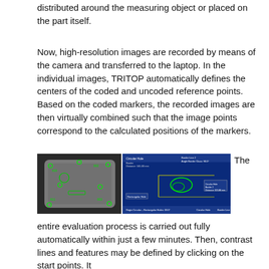distributed around the measuring object or placed on the part itself.
Now, high-resolution images are recorded by means of the camera and transferred to the laptop. In the individual images, TRITOP automatically defines the centers of the coded and uncoded reference points. Based on the coded markers, the recorded images are then virtually combined such that the image points correspond to the calculated positions of the markers.
[Figure (photo): Left: photograph of a metal part with green coded reference markers on a dark background. Right: software screenshot on blue background showing the TRITOP measurement analysis interface with circular hole, rectangular hole measurements, border lines, and distance annotations.]
The entire evaluation process is carried out fully automatically within just a few minutes. Then, contrast lines and features may be defined by clicking on the start points.  It